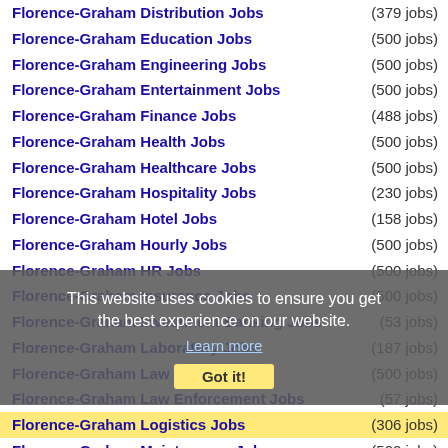Florence-Graham Distribution Jobs (379 jobs)
Florence-Graham Education Jobs (500 jobs)
Florence-Graham Engineering Jobs (500 jobs)
Florence-Graham Entertainment Jobs (500 jobs)
Florence-Graham Finance Jobs (488 jobs)
Florence-Graham Health Jobs (500 jobs)
Florence-Graham Healthcare Jobs (500 jobs)
Florence-Graham Hospitality Jobs (230 jobs)
Florence-Graham Hotel Jobs (158 jobs)
Florence-Graham Hourly Jobs (500 jobs)
Florence-Graham HR Jobs (500 jobs)
Florence-Graham Insurance Jobs (500 jobs)
Florence-Graham Investment Banking Jobs (53 jobs)
Florence-Graham Laboratory Jobs (187 jobs)
Florence-Graham Law Jobs (500 jobs)
Florence-Graham Law Enforcement Jobs (57 jobs)
Florence-Graham Logistics Jobs (306 jobs)
Florence-Graham Maintenance Jobs (500 jobs)
Florence-Graham Management Jobs (500 jobs)